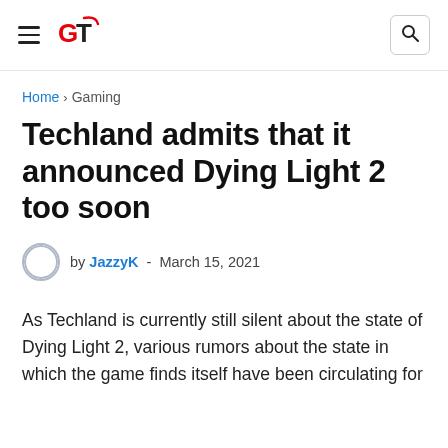GT logo navigation header with hamburger menu and search icon
Home > Gaming
Techland admits that it announced Dying Light 2 too soon
by JazzyK - March 15, 2021
As Techland is currently still silent about the state of Dying Light 2, various rumors about the state in which the game finds itself have been circulating for